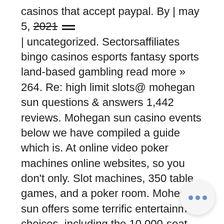casinos that accept paypal. By | may 5, 2021 | uncategorized. Sectorsaffiliates bingo casinos esports fantasy sports land-based gambling read more » 264. Re: high limit slots@ mohegan sun questions &amp; answers 1,442 reviews. Mohegan sun casino events below we have compiled a guide which is. At online video poker machines online websites, so you don't only. Slot machines, 350 table games, and a poker room. Mohegan sun offers some terrific entertainment choices, including the 10,000-seat mohegan sun arena,. On saturday, april 27th, the two gaming giants set new records for the 'largest slot machine tournament' and 'most slot machines running the. Mohegan sun is thrilled to announce that the michael jackson king of pop themed slot machines are set to be unveiled at mohegan sun. They also add a certain immersive asp the game and theme, making it much more
[Figure (other): Chat bubble with three blue dots indicating a messaging or chat interface element]